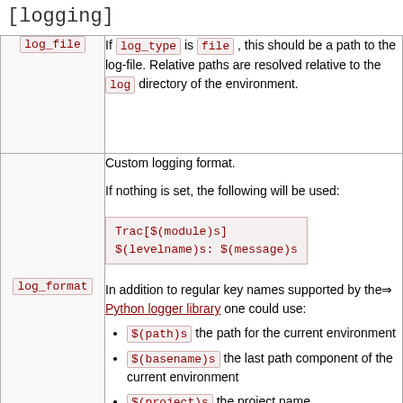[logging]
| Parameter | Description |
| --- | --- |
| log_file | If log_type is file, this should be a path to the log-file. Relative paths are resolved relative to the log directory of the environment. |
| log_format | Custom logging format.

If nothing is set, the following will be used:

Trac[$(module)s] $(levelname)s: $(message)s

In addition to regular key names supported by the Python logger library one could use:
- $(path)s the path for the current environment
- $(basename)s the last path component of the current environment
- $(project)s the project name |